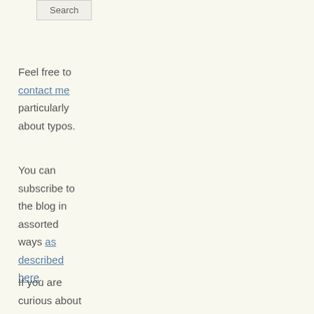[Figure (other): Search button UI element]
Feel free to contact me particularly about typos.
You can subscribe to the blog in assorted ways as described here.
If you are curious about